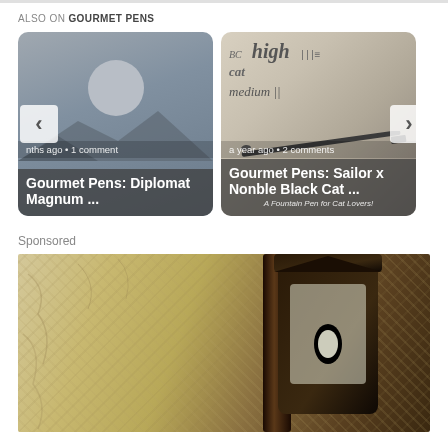ALSO ON GOURMET PENS
[Figure (photo): Card showing placeholder avatar image for Gourmet Pens: Diplomat Magnum article, labeled 'months ago • 1 comment']
[Figure (photo): Card showing pen writing on paper image for Gourmet Pens: Sailor x Nonble Black Cat article, labeled 'a year ago • 2 comments', subtitle 'A Fountain Pen for Cat Lovers!']
Sponsored
[Figure (photo): Sponsored image showing a dark metal outdoor lantern mounted on a textured stucco wall]